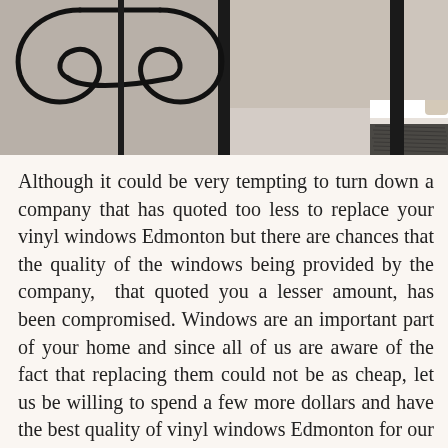[Figure (photo): Interior photo showing a decorative wrought iron railing with scroll design, white baseboard trim, grey wall, dark carpet, and a light-colored chair partially visible at the right edge.]
Although it could be very tempting to turn down a company that has quoted too less to replace your vinyl windows Edmonton but there are chances that the quality of the windows being provided by the company,  that quoted you a lesser amount, has been compromised. Windows are an important part of your home and since all of us are aware of the fact that replacing them could not be as cheap, let us be willing to spend a few more dollars and have the best quality of vinyl windows Edmonton for our homes.